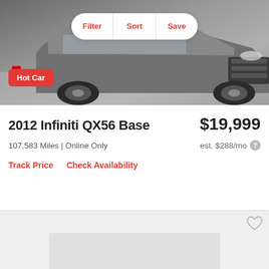[Figure (photo): Photo of a 2012 Infiniti QX56 SUV in a gray/silver color, shown from the front quarter angle in what appears to be a dealership or showroom setting. The vehicle is graphite/gray colored.]
Filter | Sort | Save
Hot Car
2012 Infiniti QX56 Base
$19,999
107,583 Miles | Online Only
est. $288/mo
Track Price   Check Availability
[Figure (photo): Partially visible second car listing card with a light gray background and a heart/favorite icon in the upper right corner. A rectangular placeholder for a car image is visible at the bottom.]